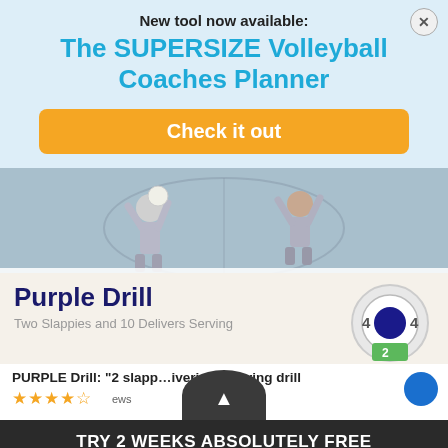New tool now available:
The SUPERSIZE Volleyball Coaches Planner
Check it out
[Figure (photo): Photo of children playing volleyball in a gym, with Purple Drill overlay text reading 'Purple Drill - Two Slappies and 10 Delivers Serving' and a scoring target circle on the right]
PURPLE Drill: “2 slapp…iveries” serving drill
TRY 2 WEEKS ABSOLUTELY FREE